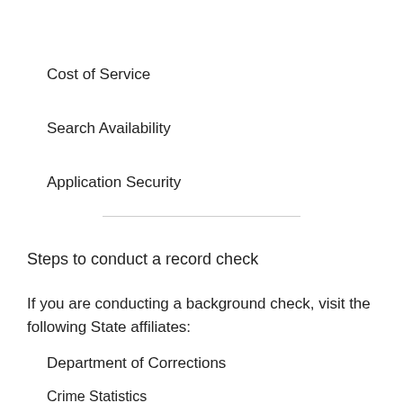Cost of Service
Search Availability
Application Security
Steps to conduct a record check
If you are conducting a background check, visit the following State affiliates:
Department of Corrections
Crime Statistics
Bureau of Investigation